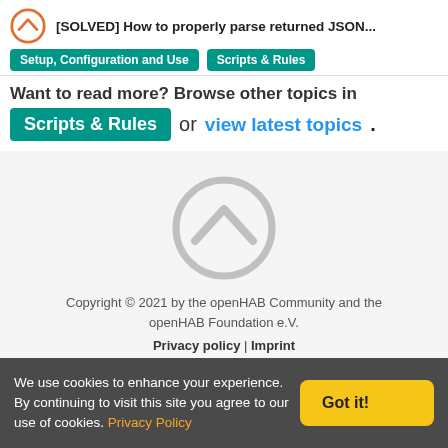[SOLVED] How to properly parse returned JSON... | Setup, Configuration and Use | Scripts & Rules
Want to read more? Browse other topics in Scripts & Rules or view latest topics.
[Figure (logo): openHAB logo — large grey circle with chevron]
Copyright © 2021 by the openHAB Community and the openHAB Foundation e.V.
Privacy policy | Imprint
[Figure (illustration): Social media icons row: Twitter, email, GitHub]
We use cookies to enhance your experience. By continuing to visit this site you agree to our use of cookies. Privacy Policy